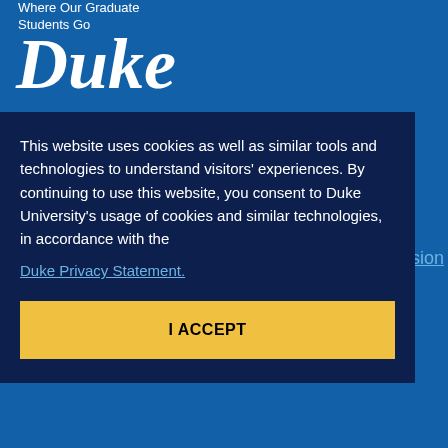Where Our Graduate
Students Go
Duke
Department of Music
clusion
This website uses cookies as well as similar tools and technologies to understand visitors' experiences. By continuing to use this website, you consent to Duke University's usage of cookies and similar technologies, in accordance with the
Duke Privacy Statement.
I ACCEPT